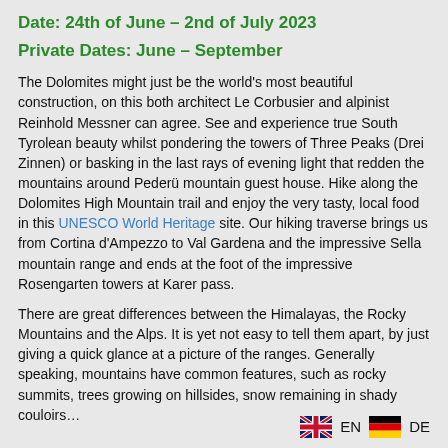Date: 24th of June – 2nd of July 2023
Private Dates: June – September
The Dolomites might just be the world's most beautiful construction, on this both architect Le Corbusier and alpinist Reinhold Messner can agree. See and experience true South Tyrolean beauty whilst pondering the towers of Three Peaks (Drei Zinnen) or basking in the last rays of evening light that redden the mountains around Pederü mountain guest house. Hike along the Dolomites High Mountain trail and enjoy the very tasty, local food in this UNESCO World Heritage site. Our hiking traverse brings us from Cortina d'Ampezzo to Val Gardena and the impressive Sella mountain range and ends at the foot of the impressive Rosengarten towers at Karer pass.
There are great differences between the Himalayas, the Rocky Mountains and the Alps. It is yet not easy to tell them apart, by just giving a quick glance at a picture of the ranges. Generally speaking, mountains have common features, such as rocky summits, trees growing on hillsides, snow remaining in shady couloirs…
[Figure (infographic): UK flag icon with EN label and German flag icon with DE label at bottom right]